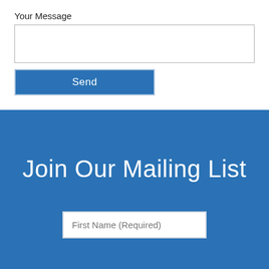Your Message
[Figure (screenshot): A text area input field (empty, white background with border) for entering a message]
[Figure (screenshot): A blue 'Send' button with white text and light border]
Join Our Mailing List
[Figure (screenshot): A white input field with placeholder text 'First Name (Required)']